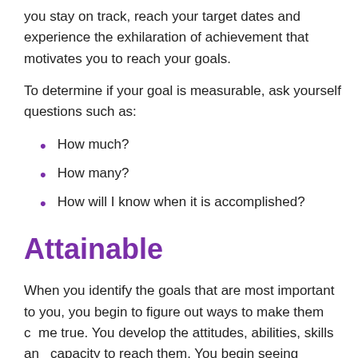you stay on track, reach your target dates and experience the exhilaration of achievement that motivates you to reach your goals.
To determine if your goal is measurable, ask yourself questions such as:
How much?
How many?
How will I know when it is accomplished?
Attainable
When you identify the goals that are most important to you, you begin to figure out ways to make them come true. You develop the attitudes, abilities, skills and capacity to reach them. You begin seeing previously